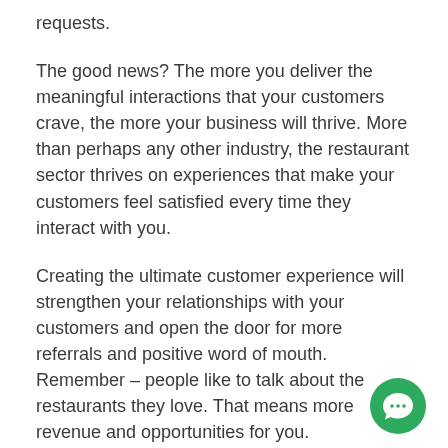requests.
The good news? The more you deliver the meaningful interactions that your customers crave, the more your business will thrive. More than perhaps any other industry, the restaurant sector thrives on experiences that make your customers feel satisfied every time they interact with you.
Creating the ultimate customer experience will strengthen your relationships with your customers and open the door for more referrals and positive word of mouth. Remember – people like to talk about the restaurants they love. That means more revenue and opportunities for you.
[Figure (illustration): Green circular chat button icon in the bottom right corner]